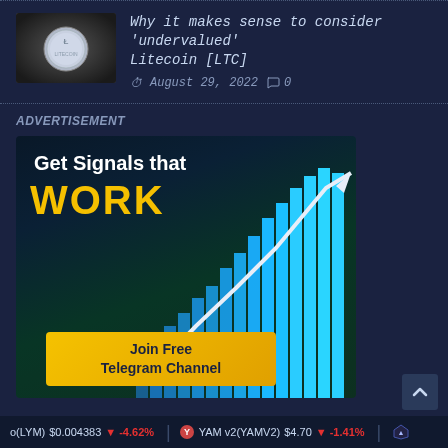[Figure (photo): Thumbnail image of a Litecoin coin on dark gravel background]
Why it makes sense to consider 'undervalued' Litecoin [LTC]
August 29, 2022   0
ADVERTISEMENT
[Figure (infographic): Advertisement banner: 'Get Signals that WORK' with rising bar chart and arrow graphic, and a 'Join Free Telegram Channel' yellow button]
o(LYM) $0.004383 ↓ -4.62%   YAM v2(YAMV2) $4.70 ↓ -1.41%